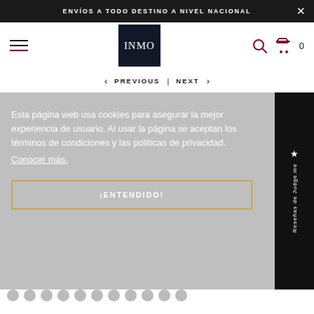ENVÍOS A TODO DESTINO A NIVEL NACIONAL
[Figure (logo): INMO brand logo — white serif text on dark navy square background]
< PREVIOUS | NEXT >
Esta página web usa cookies para asegurar la mejor experiencia de usuario. Al usar la página se aceptan los términos de condiciones y las políticas de privacidad. Conocer más.
¡Entendido!